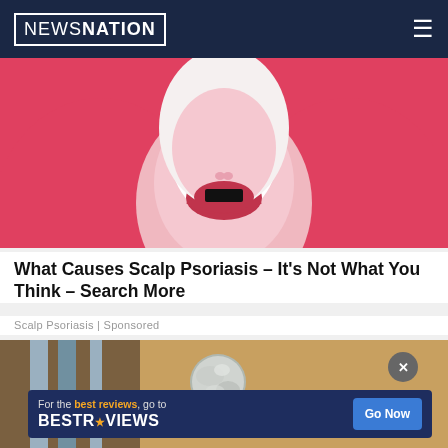NEWSNATION
[Figure (illustration): Illustration of a woman with long pink/red hair and open mouth showing red lips, on a red background, related to scalp psoriasis article.]
What Causes Scalp Psoriasis – It's Not What You Think – Search More
Scalp Psoriasis | Sponsored
[Figure (photo): Photo of a door knob wrapped in aluminum foil, with a navy blue advertisement overlay for BestReviews.]
For the best reviews, go to BESTREVIEWS  Go Now